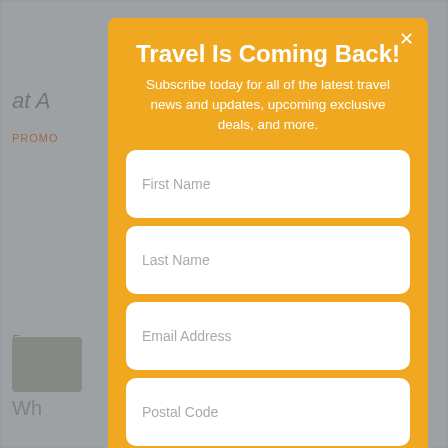Travel Is Coming Back!
Subscribe today for all of the latest travel news and updates, upcoming exclusive deals, and more.
First Name
Last Name
Email Address
Postal Code
Select a Country
What Best Describes You?
Travel Agent
Travel Supplier
Traveler